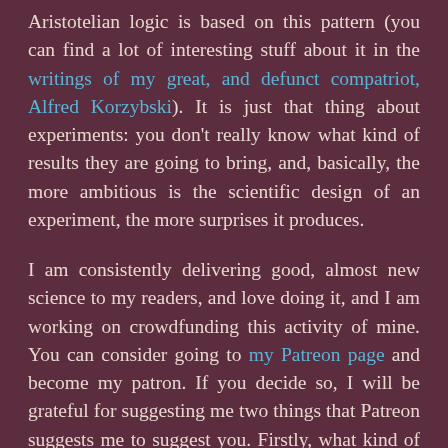Aristotelian logic is based on this pattern (you can find a lot of interesting stuff about it in the writings of my great, and defunct compatriot, Alfred Korzybski). It is just that thing about experiments: you don't really know what kind of results they are going to bring, and, basically, the more ambitious is the scientific design of an experiment, the more surprises it produces.

I am consistently delivering good, almost new science to my readers, and love doing it, and I am working on crowdfunding this activity of mine. You can consider going to my Patreon page and become my patron. If you decide so, I will be grateful for suggesting me two things that Patreon suggests me to suggest you. Firstly, what kind of reward would you expect in exchange of supporting me? Secondly, what kind of phases would